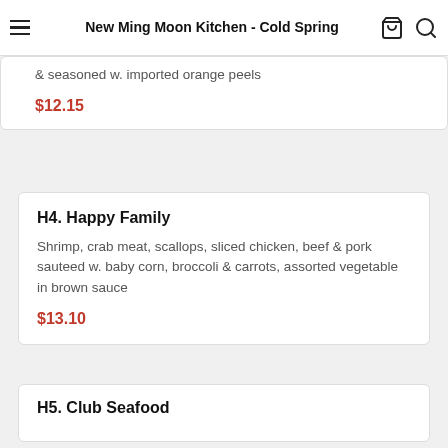New Ming Moon Kitchen - Cold Spring
& seasoned w. imported orange peels
$12.15
H4. Happy Family
Shrimp, crab meat, scallops, sliced chicken, beef & pork sauteed w. baby corn, broccoli & carrots, assorted vegetable in brown sauce
$13.10
H5. Club Seafood